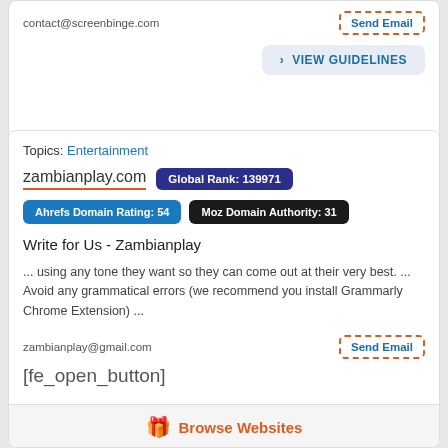contact@screenbinge.com
Send Email
> VIEW GUIDELINES
Topics: Entertainment
zambianplay.com
Global Rank: 139971
Ahrefs Domain Rating: 54
Moz Domain Authority: 31
Write for Us - Zambianplay
... using any tone they want so they can come out at their very best. ... Avoid any grammatical errors (we recommend you install Grammarly Chrome Extension) ...
zambianplay@gmail.com
Send Email
[fe_open_button]
Browse Websites